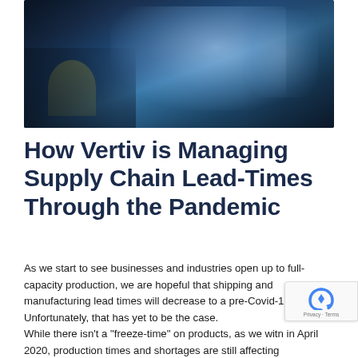[Figure (photo): A person in a yellow safety vest working at a computer workstation with multiple monitors displaying charts and graphs, in an industrial or office-industrial setting with blue lighting]
How Vertiv is Managing Supply Chain Lead-Times Through the Pandemic
As we start to see businesses and industries open up to full-capacity production, we are hopeful that shipping and manufacturing lead times will decrease to a pre-Covid-19 margin. Unfortunately, that has yet to be the case.
While there isn't a “freeze-time” on products, as we witn in April 2020, production times and shortages are still affecting